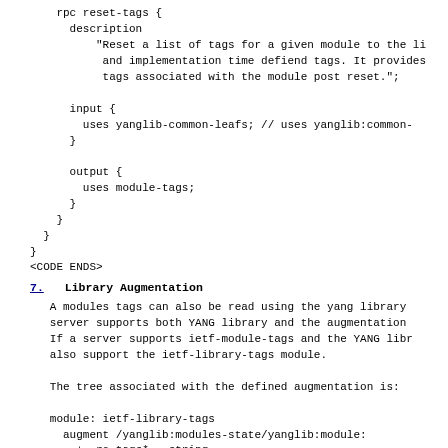rpc reset-tags {
      description
          "Reset a list of tags for a given module to the li
           and implementation time defiend tags. It provides
           tags associated with the module post reset.";

      input {
        uses yanglib-common-leafs; // uses yanglib:common-
      }

      output {
        uses module-tags;
      }
    }
  }
}
<CODE ENDS>
7.  Library Augmentation
A modules tags can also be read using the yang library
   server supports both YANG library and the augmentation
   If a server supports ietf-module-tags and the YANG libr
   also support the ietf-library-tags module.

   The tree associated with the defined augmentation is:

   module: ietf-library-tags
     augment /yanglib:modules-state/yanglib:module:
       +--ro tags*   string